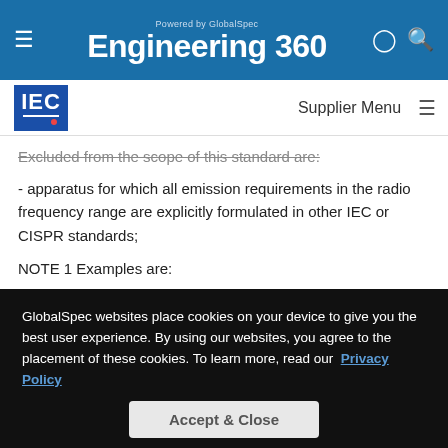Engineering 360 — Powered by GlobalSpec
[Figure (logo): IEC logo — blue square with white IEC text and red dot]
Supplier Menu
Excluded from the scope of this standard are:
- apparatus for which all emission requirements in the radio frequency range are explicitly formulated in other IEC or CISPR standards;
NOTE 1 Examples are:
– luminaires, including portable luminaires for children, discharge lamps and other lighting devices: CISPR 15;
GlobalSpec websites place cookies on your device to give you the best user experience. By using our websites, you agree to the placement of these cookies. To learn more, read our Privacy Policy
Accept & Close